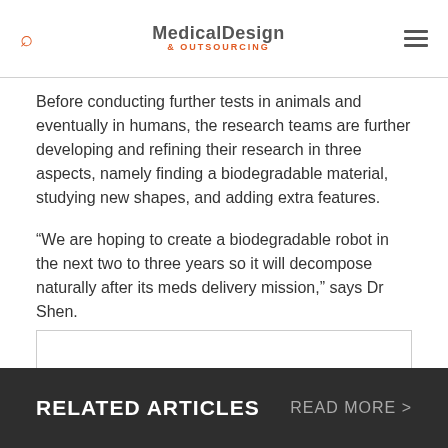Medical Design & Outsourcing
Before conducting further tests in animals and eventually in humans, the research teams are further developing and refining their research in three aspects, namely finding a biodegradable material, studying new shapes, and adding extra features.
“We are hoping to create a biodegradable robot in the next two to three years so it will decompose naturally after its meds delivery mission,” says Dr Shen.
[Figure (other): Advertisement box placeholder]
RELATED ARTICLES   READ MORE >